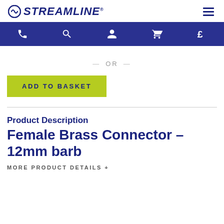STREAMLINE (logo and hamburger menu)
[Figure (other): Navigation bar with phone, search, user, cart, and pound icons on dark blue background]
— OR —
ADD TO BASKET
Product Description
Female Brass Connector – 12mm barb
MORE PRODUCT DETAILS +